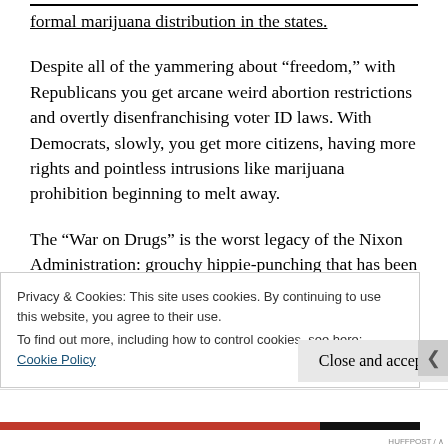formal marijuana distribution in the states.
Despite all of the yammering about “freedom,” with Republicans you get arcane weird abortion restrictions and overtly disenfranchising voter ID laws. With Democrats, slowly, you get more citizens, having more rights and pointless intrusions like marijuana prohibition beginning to melt away.
The “War on Drugs” is the worst legacy of the Nixon Administration: grouchy hippie-punching that has been used to incarcerate minorities, militarize the
Privacy & Cookies: This site uses cookies. By continuing to use this website, you agree to their use.
To find out more, including how to control cookies, see here: Cookie Policy
Close and accept